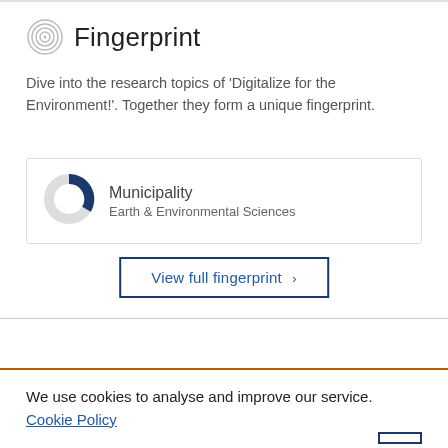Fingerprint
Dive into the research topics of 'Digitalize for the Environment!'. Together they form a unique fingerprint.
[Figure (donut-chart): Donut chart showing Municipality percentage, approximately 30% filled in dark blue]
Municipality
Earth & Environmental Sciences
View full fingerprint ›
We use cookies to analyse and improve our service. Cookie Policy